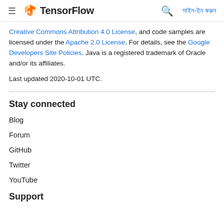TensorFlow — navigation bar with hamburger menu, TensorFlow logo, search icon, and sign-in link in Bengali
Creative Commons Attribution 4.0 License, and code samples are licensed under the Apache 2.0 License. For details, see the Google Developers Site Policies. Java is a registered trademark of Oracle and/or its affiliates.
Last updated 2020-10-01 UTC.
Stay connected
Blog
Forum
GitHub
Twitter
YouTube
Support